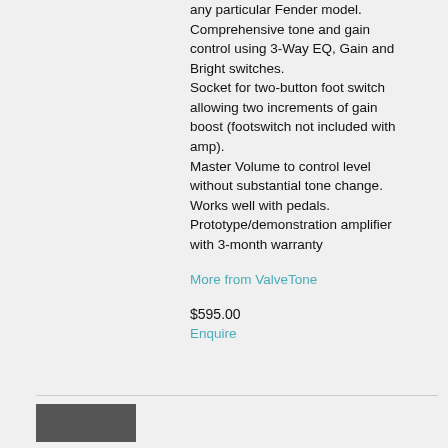any particular Fender model. Comprehensive tone and gain control using 3-Way EQ, Gain and Bright switches. Socket for two-button foot switch allowing two increments of gain boost (footswitch not included with amp). Master Volume to control level without substantial tone change. Works well with pedals. Prototype/demonstration amplifier with 3-month warranty
More from ValveTone
$595.00
Enquire
[Figure (photo): Partial image of an amplifier at the bottom of the page]